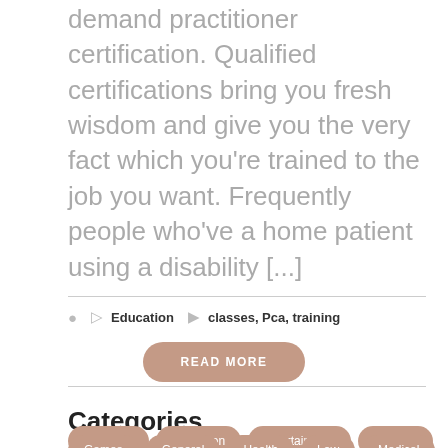demand practitioner certification. Qualified certifications bring you fresh wisdom and give you the very fact which you're trained to the job you want. Frequently people who've a home patient using a disability [...]
Education   classes, Pca, training
READ MORE
Categories
Business
Education
Entertainment
Finance
Games
General
Health
Law
Medical